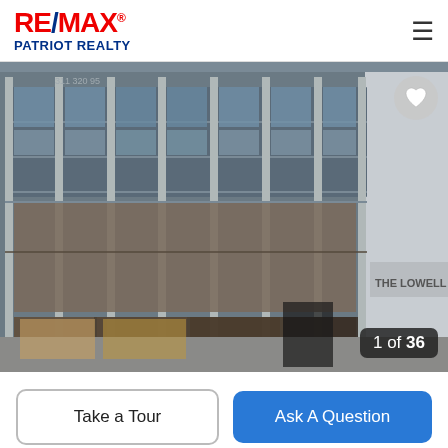RE/MAX Patriot Realty
[Figure (photo): Exterior street-level photo of a large commercial building with glass curtain-wall facade, concrete structural columns, multiple floors of windows, and a partial sign reading 'THE LOWELL S' on the right side. Shows ground-floor storefronts with boarded windows.]
1 of 36
Take a Tour
Ask A Question